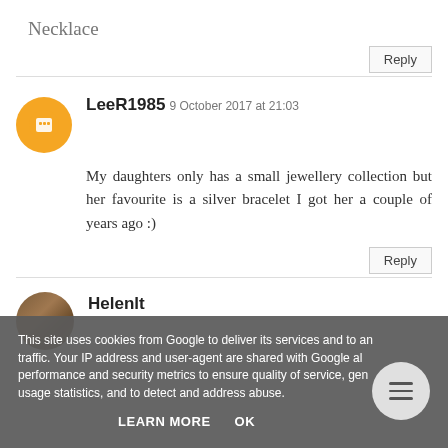Necklace
Reply
LeeR1985
9 October 2017 at 21:03
My daughters only has a small jewellery collection but her favourite is a silver bracelet I got her a couple of years ago :)
Reply
Helenlt
9 October 2017 at 21:04
This site uses cookies from Google to deliver its services and to analyze traffic. Your IP address and user-agent are shared with Google along with performance and security metrics to ensure quality of service, generate usage statistics, and to detect and address abuse.
LEARN MORE
OK